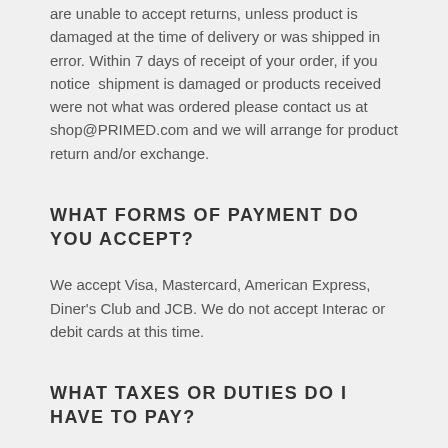are unable to accept returns, unless product is damaged at the time of delivery or was shipped in error. Within 7 days of receipt of your order, if you notice  shipment is damaged or products received were not what was ordered please contact us at shop@PRIMED.com and we will arrange for product return and/or exchange.
WHAT FORMS OF PAYMENT DO YOU ACCEPT?
We accept Visa, Mastercard, American Express, Diner's Club and JCB. We do not accept Interac or debit cards at this time.
WHAT TAXES OR DUTIES DO I HAVE TO PAY?